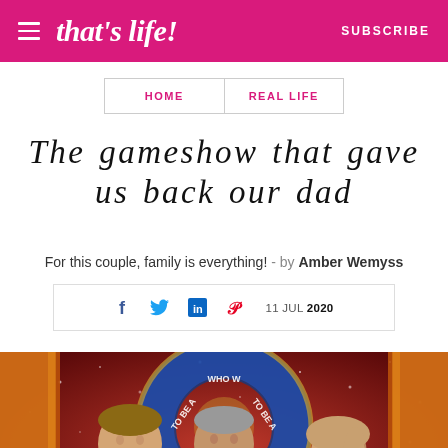that's life! — SUBSCRIBE
HOME   REAL LIFE
The gameshow that gave us back our dad
For this couple, family is everything! - by Amber Wemyss
11 JUL 2020
[Figure (photo): Three people posing on the set of the quiz show 'Who Wants to Be a Millionaire' — two younger people on either side and an older man in the centre wearing a suit and tie, all smiling at the camera.]